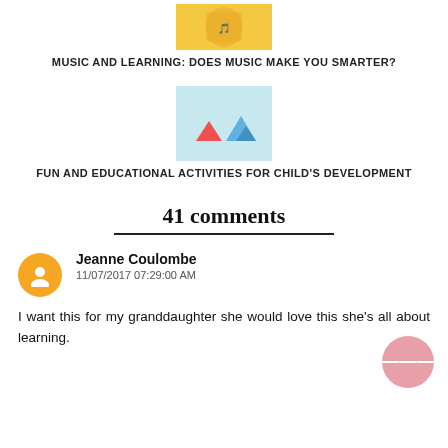[Figure (photo): Thumbnail image related to music and learning article, showing a person in a yellow outfit]
MUSIC AND LEARNING: DOES MUSIC MAKE YOU SMARTER?
[Figure (photo): Thumbnail image showing colorful paper boats, related to fun and educational activities article]
FUN AND EDUCATIONAL ACTIVITIES FOR CHILD'S DEVELOPMENT
41 comments
Jeanne Coulombe
11/07/2017 07:29:00 AM
I want this for my granddaughter she would love this she's all about learning.